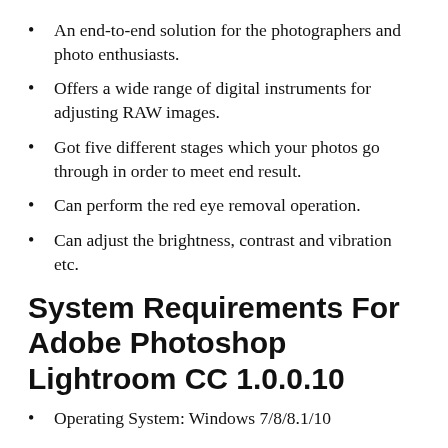An end-to-end solution for the photographers and photo enthusiasts.
Offers a wide range of digital instruments for adjusting RAW images.
Got five different stages which your photos go through in order to meet end result.
Can perform the red eye removal operation.
Can adjust the brightness, contrast and vibration etc.
System Requirements For Adobe Photoshop Lightroom CC 1.0.0.10
Operating System: Windows 7/8/8.1/10